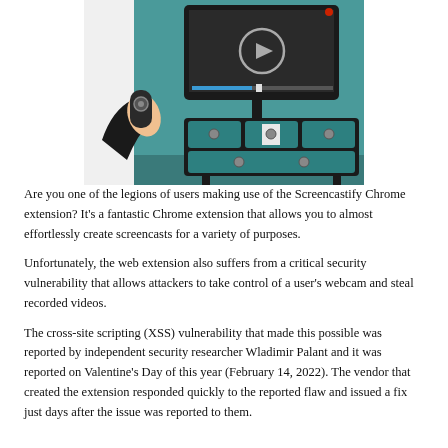[Figure (illustration): Illustration of a person holding a remote control pointing at a TV on a dresser/cabinet. The TV displays a video player with a play button. The scene has a teal/dark color scheme.]
Are you one of the legions of users making use of the Screencastify Chrome extension?  It's a fantastic Chrome extension that allows you to almost effortlessly create screencasts for a variety of purposes.
Unfortunately, the web extension also suffers from a critical security vulnerability that allows attackers to take control of a user's webcam and steal recorded videos.
The cross-site scripting (XSS) vulnerability that made this possible was reported by independent security researcher Wladimir Palant and it was reported on Valentine's Day of this year (February 14, 2022).  The vendor that created the extension responded quickly to the reported flaw and issued a fix just days after the issue was reported to them.